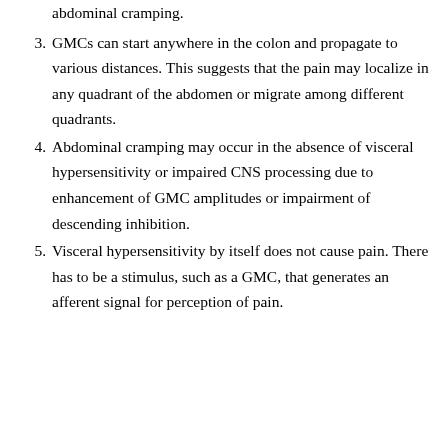abdominal cramping.
3. GMCs can start anywhere in the colon and propagate to various distances. This suggests that the pain may localize in any quadrant of the abdomen or migrate among different quadrants.
4. Abdominal cramping may occur in the absence of visceral hypersensitivity or impaired CNS processing due to enhancement of GMC amplitudes or impairment of descending inhibition.
5. Visceral hypersensitivity by itself does not cause pain. There has to be a stimulus, such as a GMC, that generates an afferent signal for perception of pain.